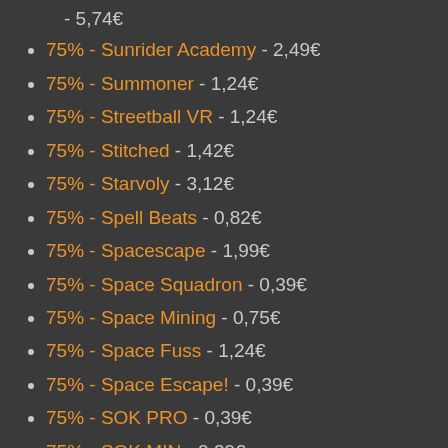- 5,74€
75% - Sunrider Academy - 2,49€
75% - Summoner - 1,24€
75% - Streetball VR - 1,24€
75% - Stitched - 1,42€
75% - Starvoly - 3,12€
75% - Spell Beats - 0,82€
75% - Spacescape - 1,99€
75% - Space Squadron - 0,39€
75% - Space Mining - 0,75€
75% - Space Fuss - 1,24€
75% - Space Escape! - 0,39€
75% - SOK PRO - 0,39€
75% - SOK MIN - 0,39€
75% - SOK MAX - 0,39€
75% - SOK - 0,39€
75% - Snowman Saves Christmas - 1,42€
75% - SMASH IT - 0,??€